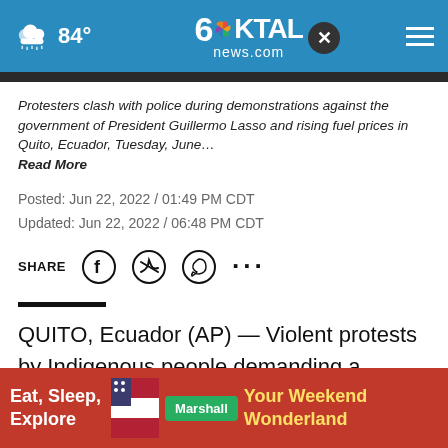84° KTAL news.com
Protesters clash with police during demonstrations against the government of President Guillermo Lasso and rising fuel prices in Quito, Ecuador, Tuesday, June… Read More
Posted: Jun 22, 2022 / 01:49 PM CDT
Updated: Jun 22, 2022 / 06:48 PM CDT
SHARE
QUITO, Ecuador (AP) — Violent protests by Indigenous people demanding a variety of changes, including… or's capita…